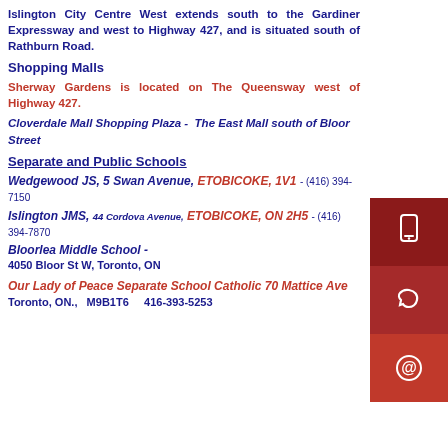Islington City Centre West extends south to the Gardiner Expressway and west to Highway 427, and is situated south of Rathburn Road.
Shopping Malls
Sherway Gardens is located on The Queensway west of Highway 427.
Cloverdale Mall Shopping Plaza -  The East Mall south of Bloor Street
Separate and Public Schools
Wedgewood JS, 5 Swan Avenue, ETOBICOKE, 1V1 - (416) 394-7150
Islington JMS, 44 Cordova Avenue, ETOBICOKE, ON 2H5 - (416) 394-7870
Bloorlea Middle School -
4050 Bloor St W, Toronto, ON
Our Lady of Peace Separate School Catholic 70 Mattice Ave
Toronto, ON.,   M9B1T6     416-393-5253